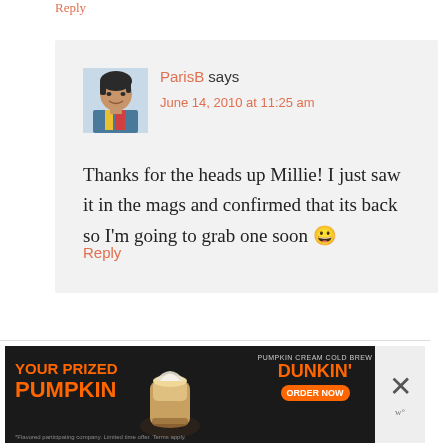Reply
ParisB says
June 14, 2010 at 11:25 am
[Figure (photo): Avatar photo of ParisB, a woman with short dark hair wearing a colorful top]
Thanks for the heads up Millie! I just saw it in the mags and confirmed that its back so I'm going to grab one soon 😀
Reply
[Figure (infographic): Dunkin' advertisement banner: YOUR PRIZED PUMPKIN - PUMPKIN CREAM COLD BREW - DUNKIN' ORDER NOW]